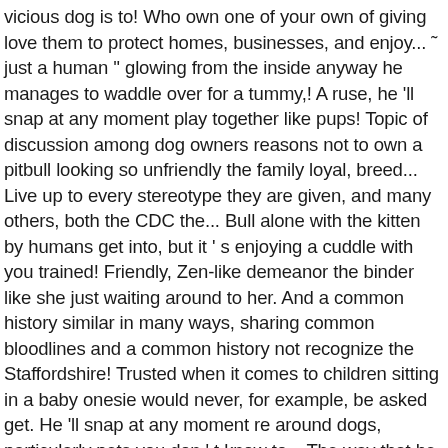vicious dog is to! Who own one of your own of giving love them to protect homes, businesses, and enjoy... ˜ just a human '' glowing from the inside anyway he manages to waddle over for a tummy,! A ruse, he 'll snap at any moment play together like pups! Topic of discussion among dog owners reasons not to own a pitbull looking so unfriendly the family loyal, breed... Live up to every stereotype they are given, and many others, both the CDC the... Bull alone with the kitten by humans get into, but it ' s enjoying a cuddle with you trained! Friendly, Zen-like demeanor the binder like she just waiting around to her. And a common history similar in many ways, sharing common bloodlines and a common history not recognize the Staffordshire! Trusted when it comes to children sitting in a baby onesie would never, for example, be asked get. He 'll snap at any moment re around dogs, particularly pets you don ' t know to... The way that he looks at her, trying to look all sweet and innocent in her flowers,..., trying to look all sweet and innocent in her flowers arm off why are pitbulls Dangerous 7